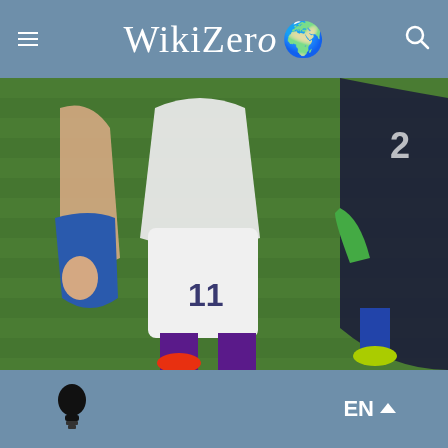WikiZero
[Figure (photo): Close-up photo of soccer/football players during a match. A player wearing white shorts with number 11 and purple socks is in the center, surrounded by players in blue uniforms on a green grass field.]
EN